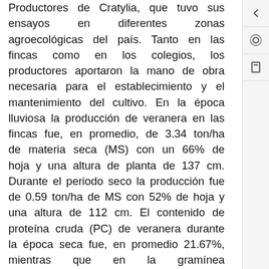Productores de Cratylia, que tuvo sus ensayos en diferentes zonas agroecológicas del país. Tanto en las fincas como en los colegios, los productores aportaron la mano de obra necesaria para el establecimiento y el mantenimiento del cultivo. En la época lluviosa la producción de veranera en las fincas fue, en promedio, de 3.34 ton/ha de materia seca (MS) con un 66% de hoja y una altura de planta de 137 cm. Durante el periodo seco la producción fue de 0.59 ton/ha de MS con 52% de hoja y una altura de 112 cm. El contenido de proteína cruda (PC) de veranera durante la época seca fue, en promedio 21.67%, mientras que en la gramínea acompañante fue de 6.52%. Los rendimientos de semillas limpia en lotes establecidos en siete fincas fueron menores a lo inicialmente esperado; en la primera época seca se produjeron